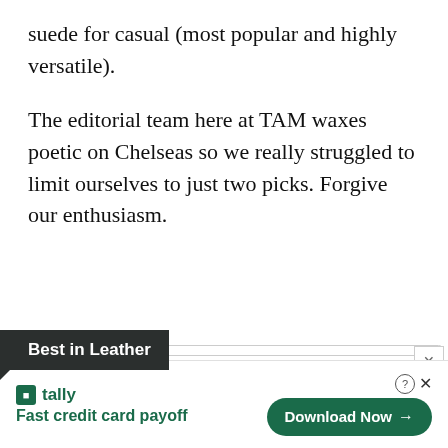suede for casual (most popular and highly versatile).
The editorial team here at TAM waxes poetic on Chelseas so we really struggled to limit ourselves to just two picks. Forgive our enthusiasm.
Best in Leather
[Figure (other): A product card area with rounded border partially visible]
[Figure (other): Advertisement banner for Tally app: Fast credit card payoff, with Download Now button]